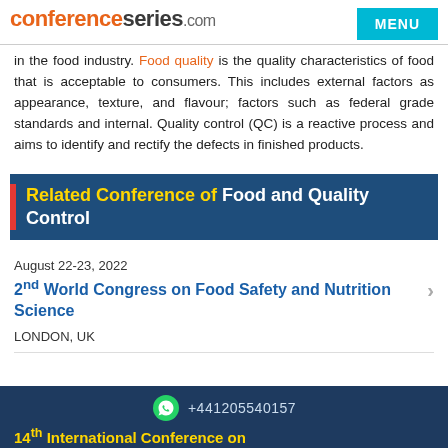conferenceseries.com | MENU
in the food industry. Food quality is the quality characteristics of food that is acceptable to consumers. This includes external factors as appearance, texture, and flavour; factors such as federal grade standards and internal. Quality control (QC) is a reactive process and aims to identify and rectify the defects in finished products.
Related Conference of Food and Quality Control
August 22-23, 2022
2nd World Congress on Food Safety and Nutrition Science
LONDON, UK
+441205540157 | 14th International Conference on ...